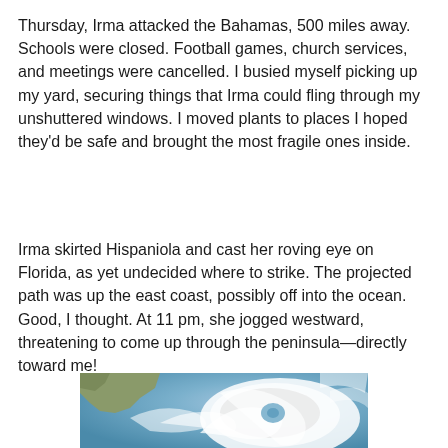Thursday, Irma attacked the Bahamas, 500 miles away. Schools were closed. Football games, church services, and meetings were cancelled. I busied myself picking up my yard, securing things that Irma could fling through my unshuttered windows. I moved plants to places I hoped they'd be safe and brought the most fragile ones inside.
Irma skirted Hispaniola and cast her roving eye on Florida, as yet undecided where to strike. The projected path was up the east coast, possibly off into the ocean. Good, I thought. At 11 pm, she jogged westward, threatening to come up through the peninsula—directly toward me!
[Figure (photo): Satellite image of Hurricane Irma approaching Florida, showing the hurricane's spiral cloud bands over the ocean and coastline.]